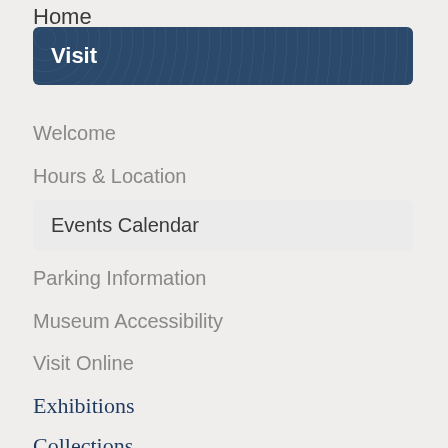Home
Visit
Welcome
Hours & Location
Events Calendar
Parking Information
Museum Accessibility
Visit Online
Exhibitions
Collections
Learn
Become a Friend